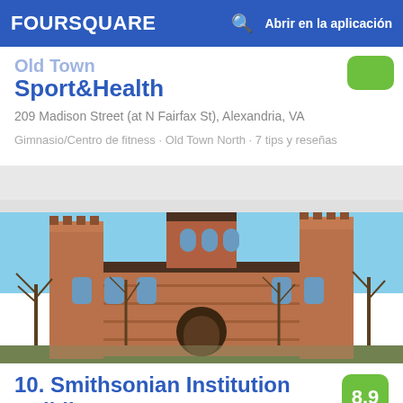FOURSQUARE   Abrir en la aplicación
Sport&Health
209 Madison Street (at N Fairfax St), Alexandria, VA
Gimnasio/Centro de fitness · Old Town North · 7 tips y reseñas
[Figure (photo): Photo of Smithsonian Institution Building (The Castle), a red brick Victorian Gothic building with towers, bare trees in foreground, blue sky background]
10. Smithsonian Institution Building
8.9